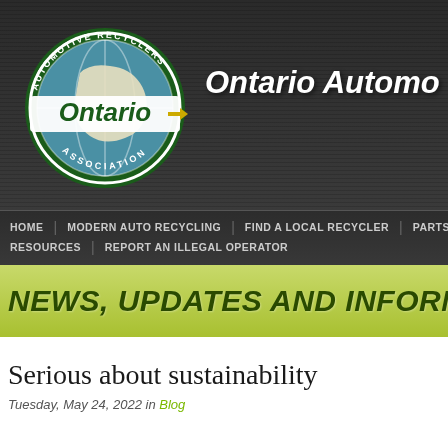[Figure (logo): Ontario Automotive Recyclers Association logo - circular green badge with globe, 'Ontario' text with arrow]
Ontario Automo
HOME | MODERN AUTO RECYCLING | FIND A LOCAL RECYCLER | PARTS | RESOURCES | REPORT AN ILLEGAL OPERATOR
NEWS, UPDATES AND INFORMAT
Serious about sustainability
Tuesday, May 24, 2022 in Blog